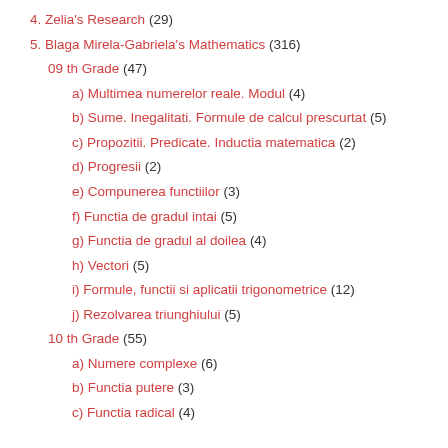4. Zelia's Research (29)
5. Blaga Mirela-Gabriela's Mathematics (316)
09 th Grade (47)
a) Multimea numerelor reale. Modul (4)
b) Sume. Inegalitati. Formule de calcul prescurtat (5)
c) Propozitii. Predicate. Inductia matematica (2)
d) Progresii (2)
e) Compunerea functiilor (3)
f) Functia de gradul intai (5)
g) Functia de gradul al doilea (4)
h) Vectori (5)
i) Formule, functii si aplicatii trigonometrice (12)
j) Rezolvarea triunghiului (5)
10 th Grade (55)
a) Numere complexe (6)
b) Functia putere (3)
c) Functia radical (4)